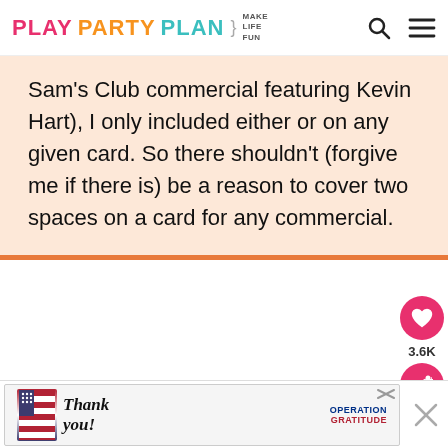PLAY PARTY PLAN | MAKE LIFE FUN
Sam's Club commercial featuring Kevin Hart), I only included either or on any given card. So there shouldn't (forgive me if there is) be a reason to cover two spaces on a card for any commercial.
[Figure (screenshot): Advertisement banner: Thank you military appreciation, Operation Gratitude]
[Figure (infographic): Social share sidebar: heart/like button with 3.6K count, share button]